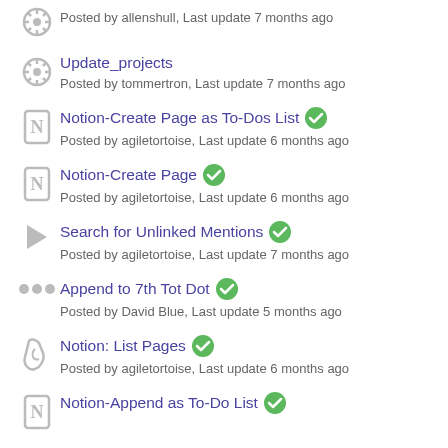Posted by allenshull, Last update 7 months ago
Update_projects — Posted by tommertron, Last update 7 months ago
Notion-Create Page as To-Dos List ✓ — Posted by agiletortoise, Last update 6 months ago
Notion-Create Page ✓ — Posted by agiletortoise, Last update 6 months ago
Search for Unlinked Mentions ✓ — Posted by agiletortoise, Last update 7 months ago
Append to 7th Tot Dot ✓ — Posted by David Blue, Last update 5 months ago
Notion: List Pages ✓ — Posted by agiletortoise, Last update 6 months ago
Notion-Append as To-Do List ✓